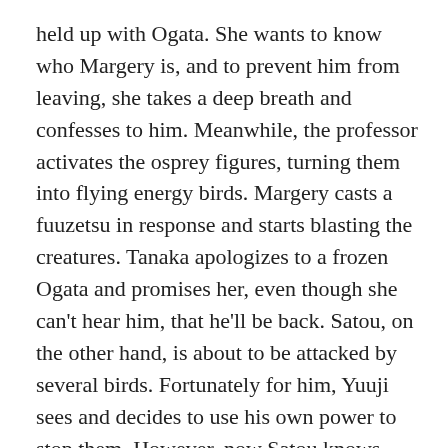held up with Ogata. She wants to know who Margery is, and to prevent him from leaving, she takes a deep breath and confesses to him. Meanwhile, the professor activates the osprey figures, turning them into flying energy birds. Margery casts a fuuzetsu in response and starts blasting the creatures. Tanaka apologizes to a frozen Ogata and promises her, even though she can't hear him, that he'll be back. Satou, on the other hand, is about to be attacked by several birds. Fortunately for him, Yuuji sees and decides to use his own power to stop them. However, now Satou knows about Yuuji and Yuuji knows about Satou. Nearby, Kazumi is also about to be attacked, but a certain red-haired, sword-wielding girl saves her.
Wow, that was just about as good as last week's Otome. Shakugan no Shana is yet another show where the sh*ts really hitting the fan now. We have Kazumi learning about Yuuji being a torch, but since she doesn't know about him being a Misutesu and having the power of Reiji Maigo, she completely freaks out. Shana feels like she's gotten more or less rejected by Yuuji, but still has to continue